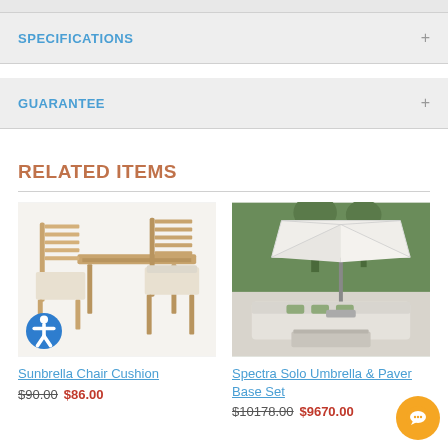SPECIFICATIONS
GUARANTEE
RELATED ITEMS
[Figure (photo): Teak folding chairs with seat cushions at a dining table, outdoor furniture product photo]
Sunbrella Chair Cushion
$90.00 $86.00
[Figure (photo): Large white square patio umbrella on a paver base set with white sectional sofa seating, outdoor lifestyle photo]
Spectra Solo Umbrella & Paver Base Set
$10178.00 $9670.00